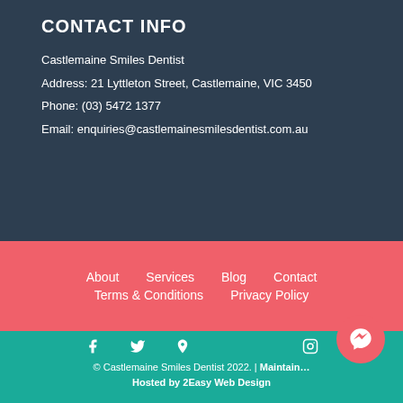CONTACT INFO
Castlemaine Smiles Dentist
Address: 21 Lyttleton Street, Castlemaine, VIC 3450
Phone: (03) 5472 1377
Email: enquiries@castlemainesmilesdentist.com.au
About   Services   Blog   Contact
Terms & Conditions   Privacy Policy
© Castlemaine Smiles Dentist 2022. | Maintained & Hosted by 2Easy Web Design